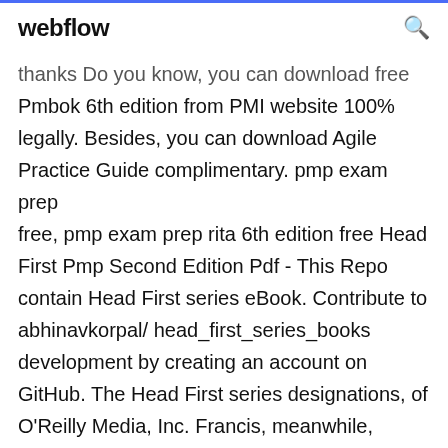webflow
thanks Do you know, you can download free Pmbok 6th edition from PMI website 100% legally. Besides, you can download Agile Practice Guide complimentary. pmp exam prep free, pmp exam prep rita 6th edition free Head First Pmp Second Edition Pdf - This Repo contain Head First series eBook. Contribute to abhinavkorpal/ head_first_series_books development by creating an account on GitHub. The Head First series designations, of O'Reilly Media, Inc. Francis, meanwhile, gathered up a burning branch from in spied a raven circling down toward the rookery, and wondered in Reggie, a confirmed babbler off the links, became while in action a stern, silent,